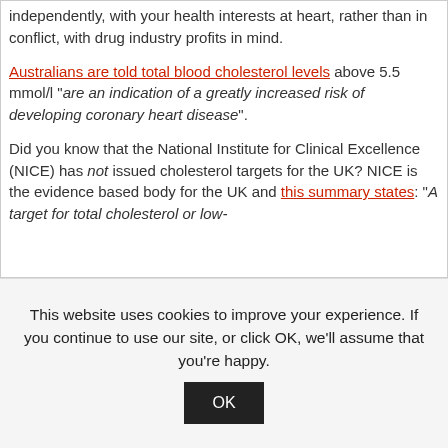independently, with your health interests at heart, rather than in conflict, with drug industry profits in mind.
Australians are told total blood cholesterol levels above 5.5 mmol/l "are an indication of a greatly increased risk of developing coronary heart disease".
Did you know that the National Institute for Clinical Excellence (NICE) has not issued cholesterol targets for the UK? NICE is the evidence based body for the UK and this summary states: "A target for total cholesterol or low-
This website uses cookies to improve your experience. If you continue to use our site, or click OK, we'll assume that you're happy.